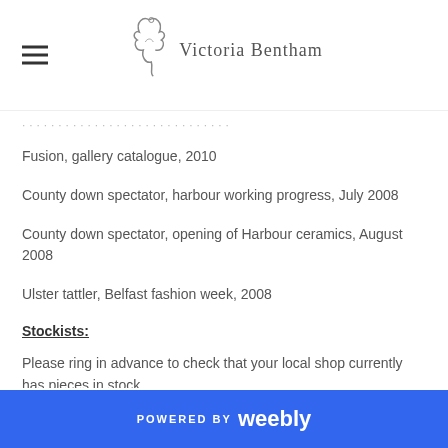Victoria Bentham (logo/header)
Fusion, gallery catalogue, 2010
County down spectator, harbour working progress, July 2008
County down spectator, opening of Harbour ceramics, August 2008
Ulster tattler, Belfast fashion week, 2008
Stockists:
Please ring in advance to check that your local shop currently has pieces in stock.
POWERED BY weebly